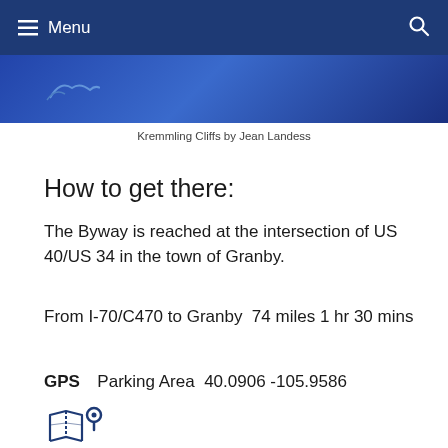Menu
[Figure (photo): Cropped photo strip showing Kremmling Cliffs landscape with blue sky background]
Kremmling Cliffs by Jean Landess
How to get there:
The Byway is reached at the intersection of US 40/US 34 in the town of Granby.
From I-70/C470 to Granby  74 miles 1 hr 30 mins
GPS  Parking Area  40.0906 -105.9586
[Figure (illustration): Blue map/location pin icon]